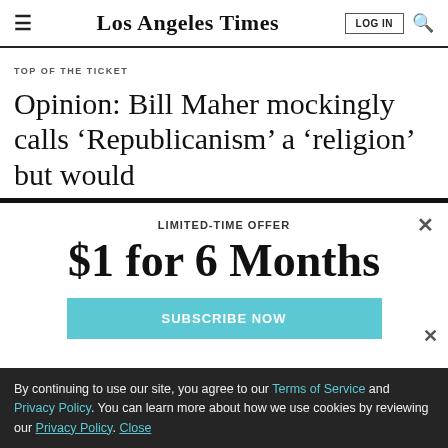Los Angeles Times
TOP OF THE TICKET
Opinion: Bill Maher mockingly calls ‘Republicanism’ a ‘religion’ but would
LIMITED-TIME OFFER
$1 for 6 Months
SUBSCRIBE NOW
By continuing to use our site, you agree to our Terms of Service and Privacy Policy. You can learn more about how we use cookies by reviewing our Privacy Policy. Close